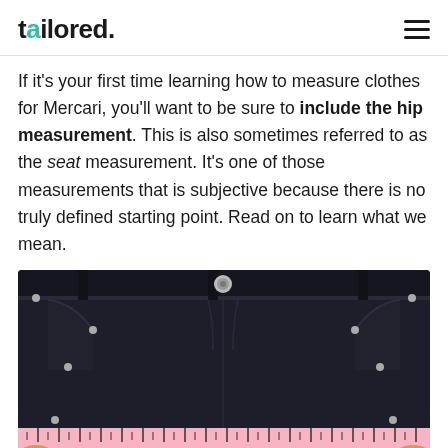tailored.
If it's your first time learning how to measure clothes for Mercari, you'll want to be sure to include the hip measurement. This is also sometimes referred to as the seat measurement. It's one of those measurements that is subjective because there is no truly defined starting point. Read on to learn what we mean.
[Figure (photo): Photo of dark navy/black jeans laid flat, showing the waistband with button and rivets, with a pink measuring tape stretched across the bottom of the frame showing measurements from approximately 1 to 18+ inches.]